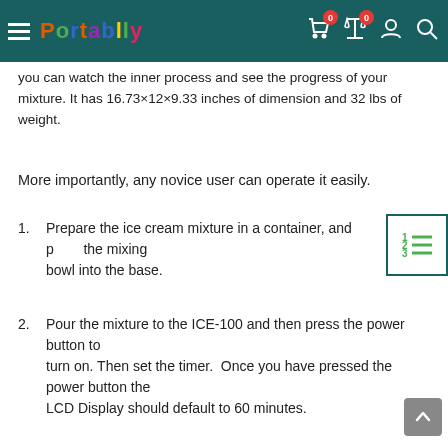Portablly
you can watch the inner process and see the progress of your mixture. It has 16.73×12×9.33 inches of dimension and 32 lbs of weight.
More importantly, any novice user can operate it easily.
1. Prepare the ice cream mixture in a container, and place the mixing bowl into the base.
2. Pour the mixture to the ICE-100 and then press the power button to turn on. Then set the timer.  Once you have pressed the power button the LCD Display should default to 60 minutes.